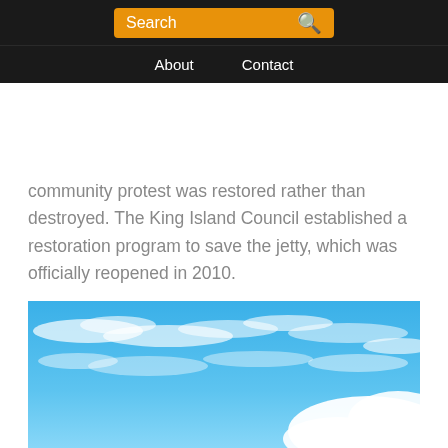Search
About   Contact
community protest was restored rather than destroyed. The King Island Council established a restoration program to save the jetty, which was officially reopened in 2010.
[Figure (photo): Blue sky with scattered white clouds, photo of outdoor sky scene]